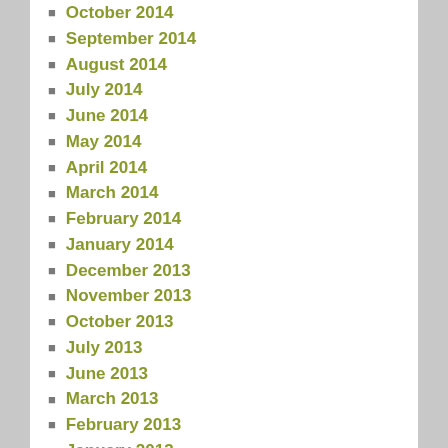October 2014
September 2014
August 2014
July 2014
June 2014
May 2014
April 2014
March 2014
February 2014
January 2014
December 2013
November 2013
October 2013
July 2013
June 2013
March 2013
February 2013
January 2013
December 2012
August 2012
July 2012
June 2012